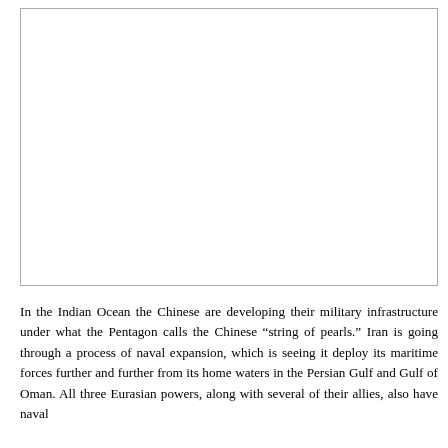[Figure (other): Blank white image placeholder with a thin border]
In the Indian Ocean the Chinese are developing their military infrastructure under what the Pentagon calls the Chinese “string of pearls.” Iran is going through a process of naval expansion, which is seeing it deploy its maritime forces further and further from its home waters in the Persian Gulf and Gulf of Oman. All three Eurasian powers, along with several of their allies, also have naval